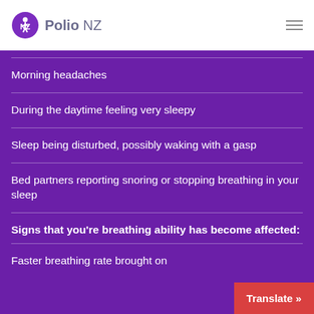Polio NZ
Morning headaches
During the daytime feeling very sleepy
Sleep being disturbed, possibly waking with a gasp
Bed partners reporting snoring or stopping breathing in your sleep
Signs that you're breathing ability has become affected:
Faster breathing rate brought on